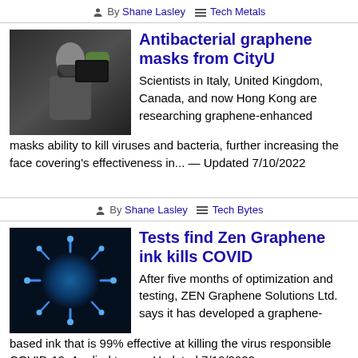By Shane Lasley  ≡ Tech Metals
[Figure (photo): Person in mask holding a graphene mask device]
Antibacterial graphene masks from CityU
Scientists in Italy, United Kingdom, Canada, and now Hong Kong are researching graphene-enhanced masks ability to kill viruses and bacteria, further increasing the face covering's effectiveness in... — Updated 7/10/2022
By Shane Lasley  ≡ Tech Bytes
[Figure (photo): Close-up microscopy image of COVID-19 coronavirus particle in blue tones]
Tests find Zen Graphene ink kills COVID
After five months of optimization and testing, ZEN Graphene Solutions Ltd. says it has developed a graphene-based ink that is 99% effective at killing the virus responsible COVID-19. Applied to... — Updated 7/10/2022